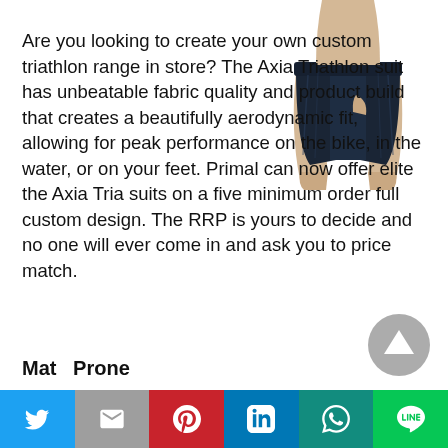[Figure (photo): Photo of a person wearing a dark navy/black triathlon suit (shorts visible from waist down), white background.]
Are you looking to create your own custom triathlon range in store? The Axia Triathlon suit has unbeatable fabric quality and product build that creates a beautifully aerodynamic fit, allowing for peak performance on the bike, in the water, or on your feet. Primal can now offer elite the Axia Tria suits on a five minimum order full custom design. The RRP is yours to decide and no one will ever come in and ask you to price match.
Mat    Prone
[Figure (other): Grey circular scroll-to-top button with upward triangle arrow icon]
[Figure (other): Social share bar with Twitter, Gmail, Pinterest, LinkedIn, WhatsApp, and LINE buttons]